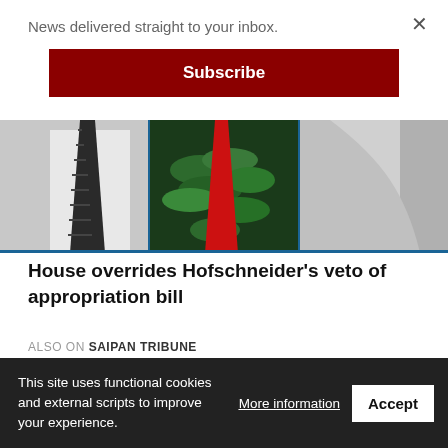News delivered straight to your inbox.
Subscribe
[Figure (photo): Composite photo of three individuals: left shows a person in white shirt with dark patterned tie, center shows a person with red tie and green lei/garland, right shows a person in gray top.]
House overrides Hofschneider's veto of appropriation bill
ALSO ON SAIPAN TRIBUNE
[Figure (photo): Thumbnail image showing a dark scene with papers or documents]
[Figure (photo): Thumbnail image showing a light scene with a person]
This site uses functional cookies and external scripts to improve your experience.
More information
Accept